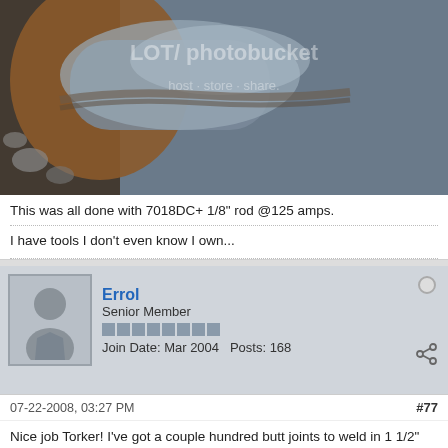[Figure (photo): Close-up macro photo of a welded metal joint, showing the weld bead on what appears to be pipe or metal surface, with gravel/rocks visible in the background. Has a watermark overlay.]
This was all done with 7018DC+ 1/8" rod @125 amps.
I have tools I don't even know I own...
Errol
Senior Member
Join Date: Mar 2004   Posts: 168
07-22-2008, 03:27 PM
#77
Nice job Torker! I've got a couple hundred butt joints to weld in 1 1/2" 0-120 sprinkler pipe. Building a short pipeline from my dugout to